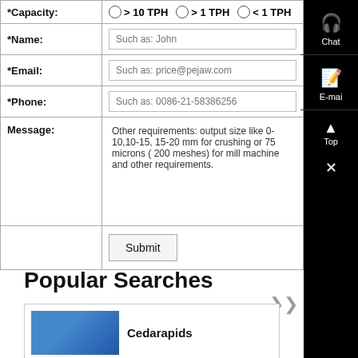| *Capacity: | > 10 TPH  > 1 TPH  < 1 TPH |
| *Name: | Such as: John |
| *Email: | Such as: price@pejaw.com |
| *Phone: | Such as: 0086-21-58386256 |
| Message: | Other requirements: output size like 0-10,10-15, 15-20 mm for crushing or 75 microns ( 200 meshes) for mill machine and other requirements. |
|  | Submit |
Popular Searches
[Figure (screenshot): Cedarapids product card with blue image thumbnail and text label]